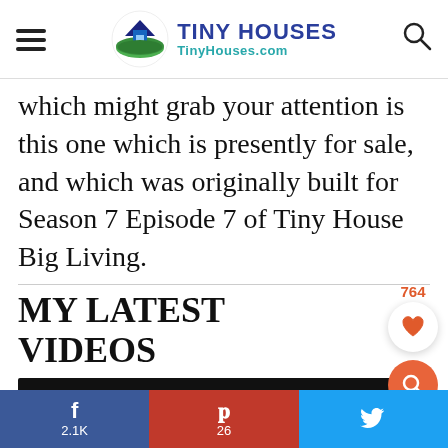TINY HOUSES TinyHouses.com
which might grab your attention is this one which is presently for sale, and which was originally built for Season 7 Episode 7 of Tiny House Big Living.
MY LATEST VIDEOS
[Figure (screenshot): Video thumbnail - black rectangle]
f 2.1K  p 26  Twitter share